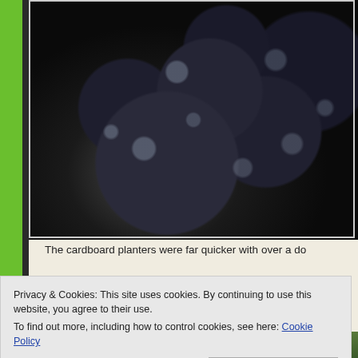[Figure (photo): Close-up macro photograph of dark, wet blueberries or similar dark round fruits covered in water droplets and glistening moisture against a very dark background]
The cardboard planters were far quicker with over a do
Privacy & Cookies: This site uses cookies. By continuing to use this website, you agree to their use.
To find out more, including how to control cookies, see here: Cookie Policy
Close and accept
[Figure (photo): Bottom strip showing partial view of another photograph, appears to be a garden or outdoor scene with green vegetation]